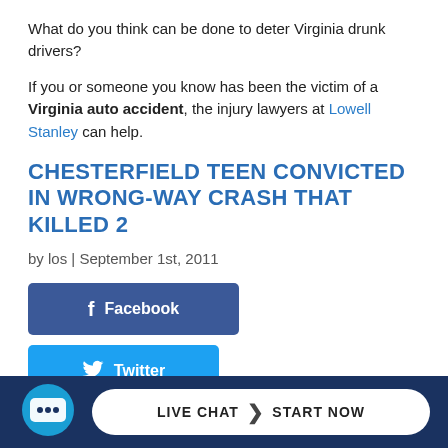What do you think can be done to deter Virginia drunk drivers?
If you or someone you know has been the victim of a Virginia auto accident, the injury lawyers at Lowell Stanley can help.
CHESTERFIELD TEEN CONVICTED IN WRONG-WAY CRASH THAT KILLED 2
by los | September 1st, 2011
[Figure (infographic): Social share buttons: Facebook, Twitter, Pinterest, LinkedIn]
September 1, 2011
[Figure (infographic): Live chat start now button bar at bottom of page]